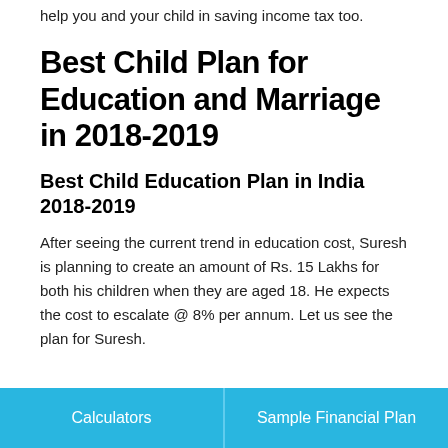help you and your child in saving income tax too.
Best Child Plan for Education and Marriage in 2018-2019
Best Child Education Plan in India 2018-2019
After seeing the current trend in education cost, Suresh is planning to create an amount of Rs. 15 Lakhs for both his children when they are aged 18. He expects the cost to escalate @ 8% per annum. Let us see the plan for Suresh.
Calculators | Sample Financial Plan